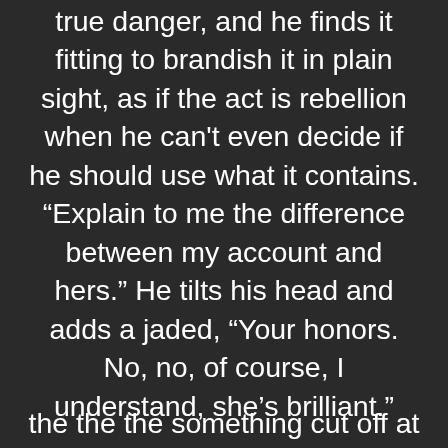true danger, and he finds it fitting to brandish it in plain sight, as if the act is rebellion when he can't even decide if he should use what it contains. “Explain to me the difference between my account and hers.” He tilts his head and adds a jaded, “Your honors. No, no, of course, I understand, she’s brilliant.”
(partially visible text at bottom)